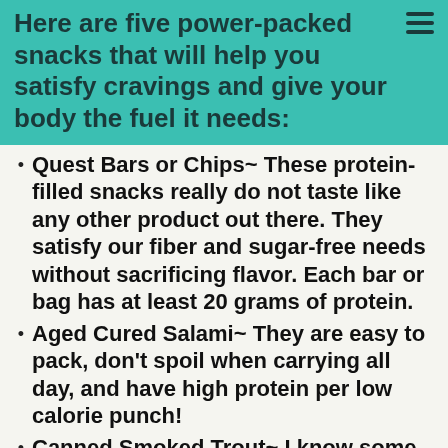Here are five power-packed snacks that will help you satisfy cravings and give your body the fuel it needs:
Quest Bars or Chips~ These protein-filled snacks really do not taste like any other product out there. They satisfy our fiber and sugar-free needs without sacrificing flavor. Each bar or bag has at least 20 grams of protein.
Aged Cured Salami~ They are easy to pack, don't spoil when carrying all day, and have high protein per low calorie punch!
Canned Smoked Trout~ I know some are turned off by the smell, but each can has 140 calories and 20 grams of